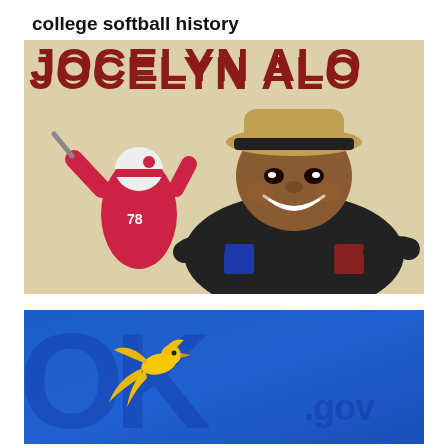[Figure (photo): Sports promotional graphic with beige background showing 'college softball history' text at top in black, large red bold text 'JOCELYN ALO' below it, and a smiling athlete in dark jersey wearing a hat in foreground, with another player in pink jersey numbered 78 visible in background]
[Figure (logo): Oklahoma state government logo (OK.gov) on royal blue background with large OK letters in darker blue and a yellow/gold scissor-tailed flycatcher bird logo]